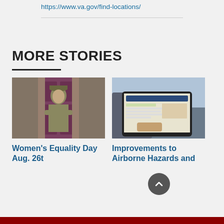https://www.va.gov/find-locations/
MORE STORIES
[Figure (photo): A soldier in military camouflage uniform standing in front of a dark red/maroon door]
Women's Equality Day Aug. 26t
[Figure (photo): A person using a laptop, viewing what appears to be a VA website or form]
Improvements to Airborne Hazards and